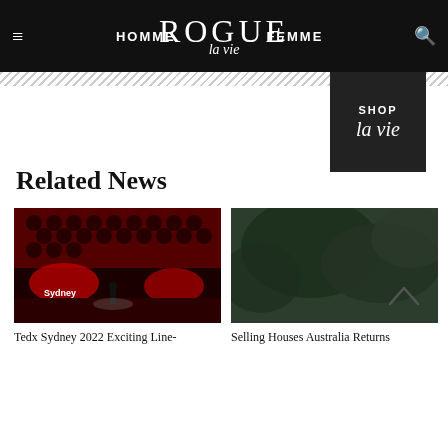HOMME | ROGUE la vie | FEMME
[Figure (logo): Shop la vie dark box advertisement]
Related News
[Figure (photo): TEDx Sydney 2022 event stage with red lighting and audience]
Tedx Sydney 2022 Exciting Line-
[Figure (photo): Selling Houses Australia outdoor greenery photo]
Selling Houses Australia Returns